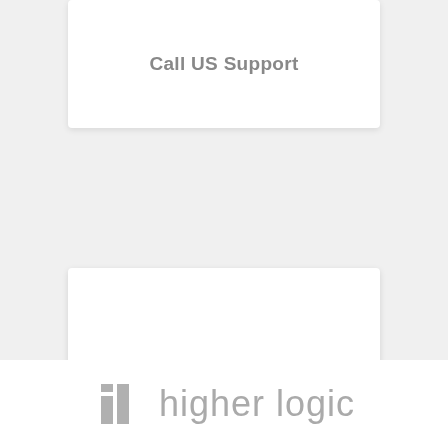Call US Support
[Figure (illustration): Orange envelope icon for Suggest an Article card]
Suggest an Article
[Figure (logo): Higher Logic logo with icon and text in gray]